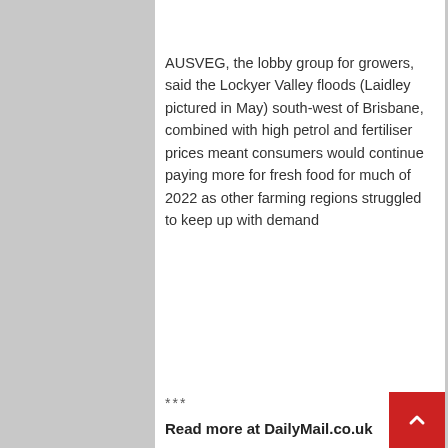AUSVEG, the lobby group for growers, said the Lockyer Valley floods (Laidley pictured in May) south-west of Brisbane, combined with high petrol and fertiliser prices meant consumers would continue paying more for fresh food for much of 2022 as other farming regions struggled to keep up with demand
***
Read more at DailyMail.co.uk